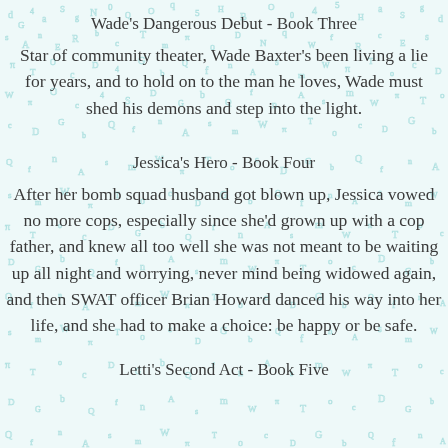Wade's Dangerous Debut - Book Three
Star of community theater, Wade Baxter's been living a lie for years, and to hold on to the man he loves, Wade must shed his demons and step into the light.
Jessica's Hero - Book Four
After her bomb squad husband got blown up, Jessica vowed no more cops, especially since she'd grown up with a cop father, and knew all too well she was not meant to be waiting up all night and worrying, never mind being widowed again, and then SWAT officer Brian Howard danced his way into her life, and she had to make a choice: be happy or be safe.
Letti's Second Act - Book Five